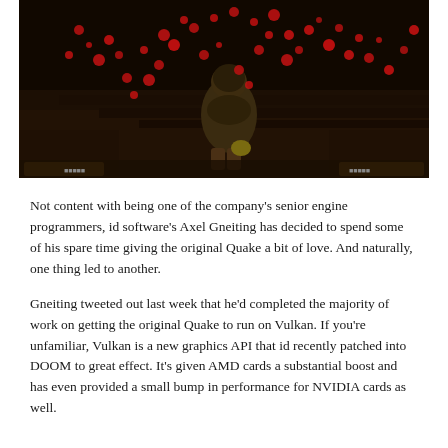[Figure (screenshot): Screenshot of original Quake game showing a dark environment with a character model surrounded by red blood splatter particles against a dark brown/black background.]
Not content with being one of the company's senior engine programmers, id software's Axel Gneiting has decided to spend some of his spare time giving the original Quake a bit of love. And naturally, one thing led to another.
Gneiting tweeted out last week that he'd completed the majority of work on getting the original Quake to run on Vulkan. If you're unfamiliar, Vulkan is a new graphics API that id recently patched into DOOM to great effect. It's given AMD cards a substantial boost and has even provided a small bump in performance for NVIDIA cards as well.